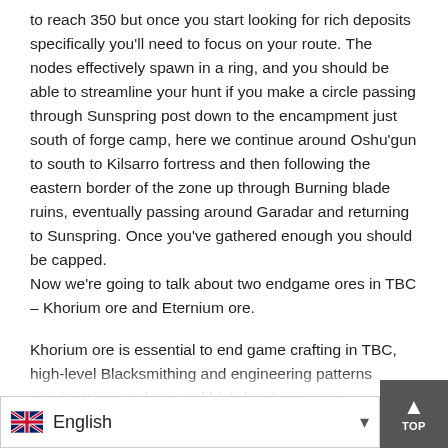to reach 350 but once you start looking for rich deposits specifically you'll need to focus on your route. The nodes effectively spawn in a ring, and you should be able to streamline your hunt if you make a circle passing through Sunspring post down to the encampment just south of forge camp, here we continue around Oshu'gun to south to Kilsarro fortress and then following the eastern border of the zone up through Burning blade ruins, eventually passing around Garadar and returning to Sunspring. Once you've gathered enough you should be capped.
Now we're going to talk about two endgame ores in TBC – Khorium ore and Eternium ore.
Khorium ore is essential to end game crafting in TBC, high-level Blacksmithing and engineering patterns require Khorium bars and high-level gems are prospected from the ore itself. The nodes to gath...